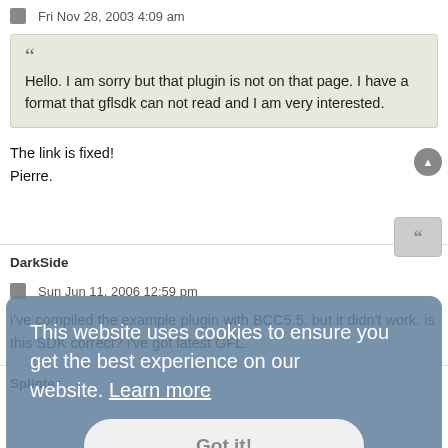Fri Nov 28, 2003 4:09 am
Hello. I am sorry but that plugin is not on that page. I have a format that gflsdk can not read and I am very interested.
The link is fixed!
Pierre.
DarkSide
Sun Jun 11, 2006 12:59 pm
i've compiled the example plugin with BCC5.5, but it didn't work. is this SDK correct? i've got latest GFL.
Splinter
This website uses cookies to ensure you get the best experience on our website. Learn more
Got it!